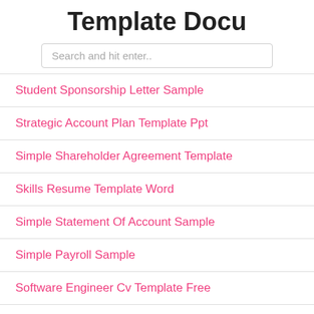Template Docu
Search and hit enter..
Student Sponsorship Letter Sample
Strategic Account Plan Template Ppt
Simple Shareholder Agreement Template
Skills Resume Template Word
Simple Statement Of Account Sample
Simple Payroll Sample
Software Engineer Cv Template Free
Simple Film Budget Template
Standard Operating Procedure Template Pdf
Study Schedule Template Word